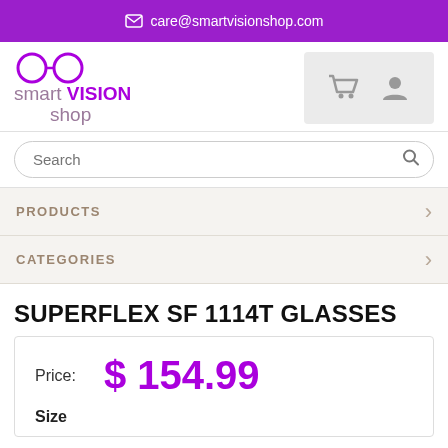care@smartvisionshop.com
[Figure (logo): Smart Vision Shop logo with glasses icon, purple and grey text]
[Figure (other): Shopping cart and user account icons in a grey box]
Search
PRODUCTS
CATEGORIES
SUPERFLEX SF 1114T GLASSES
Price: $ 154.99
Size